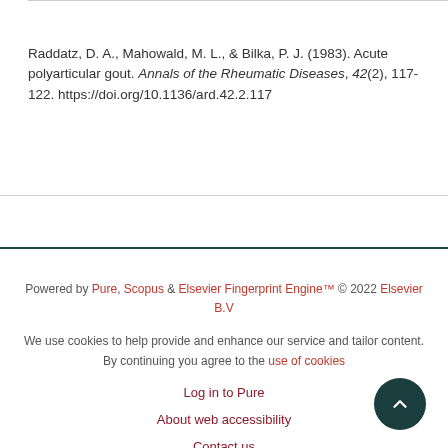Raddatz, D. A., Mahowald, M. L., & Bilka, P. J. (1983). Acute polyarticular gout. Annals of the Rheumatic Diseases, 42(2), 117-122. https://doi.org/10.1136/ard.42.2.117
Powered by Pure, Scopus & Elsevier Fingerprint Engine™ © 2022 Elsevier B.V
We use cookies to help provide and enhance our service and tailor content. By continuing you agree to the use of cookies
Log in to Pure
About web accessibility
Contact us